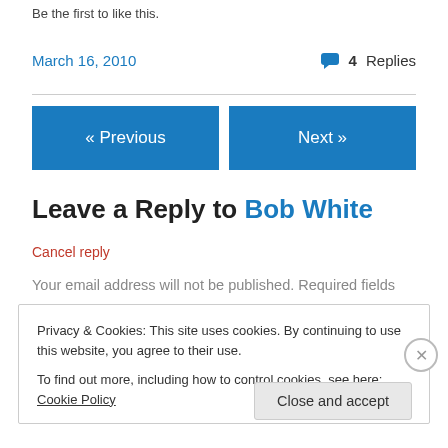Be the first to like this.
March 16, 2010    💬 4 Replies
« Previous
Next »
Leave a Reply to Bob White
Cancel reply
Your email address will not be published. Required fields
Privacy & Cookies: This site uses cookies. By continuing to use this website, you agree to their use.
To find out more, including how to control cookies, see here: Cookie Policy
Close and accept